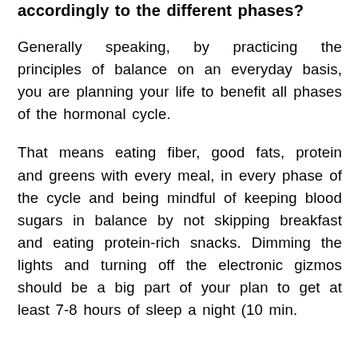accordingly to the different phases?
Generally speaking, by practicing the principles of balance on an everyday basis, you are planning your life to benefit all phases of the hormonal cycle.
That means eating fiber, good fats, protein and greens with every meal, in every phase of the cycle and being mindful of keeping blood sugars in balance by not skipping breakfast and eating protein-rich snacks. Dimming the lights and turning off the electronic gizmos should be a big part of your plan to get at least 7-8 hours of sleep a night (10 min.